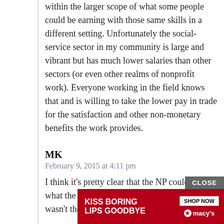within the larger scope of what some people could be earning with those same skills in a different setting. Unfortunately the social-service sector in my community is large and vibrant but has much lower salaries than other sectors (or even other realms of nonprofit work). Everyone working in the field knows that and is willing to take the lower pay in trade for the satisfaction and other non-monetary benefits the work provides.
MK
February 9, 2015 at 4:11 pm
I think it's pretty clear that the NP couldn't offer what the person was asking; if the money wasn't there, it wasn't there.
What usually happens when an employer realizes they can't match what they are looking for is that they are... [advertisement overlay] ...person
[Figure (other): Advertisement overlay: Macy's 'Kiss Boring Lips Goodbye' ad with red background, Shop Now button, and a CLOSE button above it.]